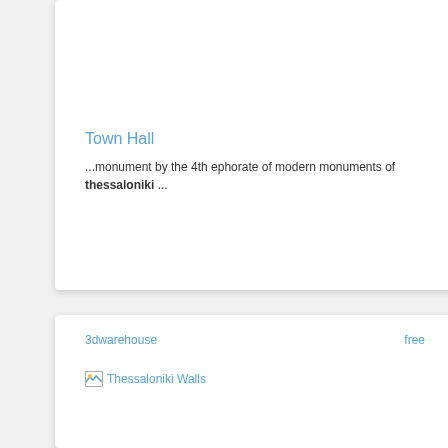Town Hall
...monument by the 4th ephorate of modern monuments of thessaloniki ...
3dwarehouse    free
[Figure (other): Broken image placeholder with alt text 'Thessaloniki Walls']